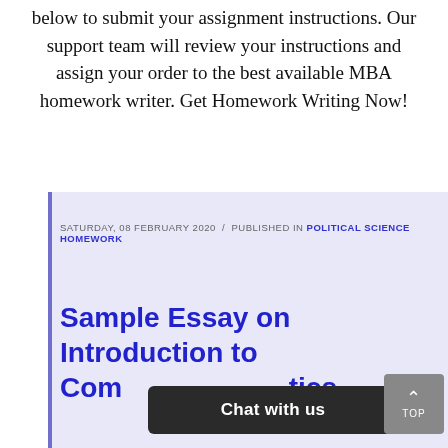below to submit your assignment instructions. Our support team will review your instructions and assign your order to the best available MBA homework writer. Get Homework Writing Now!
SATURDAY, 08 FEBRUARY 2020 / PUBLISHED IN POLITICAL SCIENCE HOMEWORK
Sample Essay on Introduction to Comparative Politics